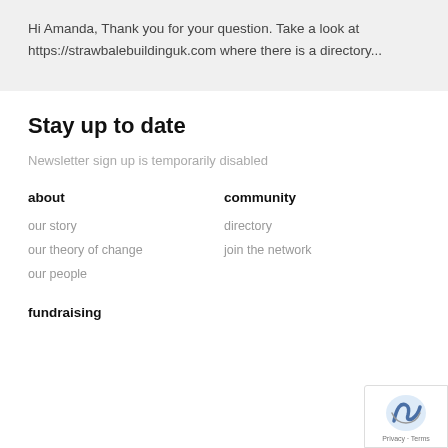Hi Amanda, Thank you for your question. Take a look at https://strawbalebuildinguk.com where there is a directory...
Stay up to date
Newsletter sign up is temporarily disabled
about
community
our story
directory
our theory of change
join the network
our people
fundraising